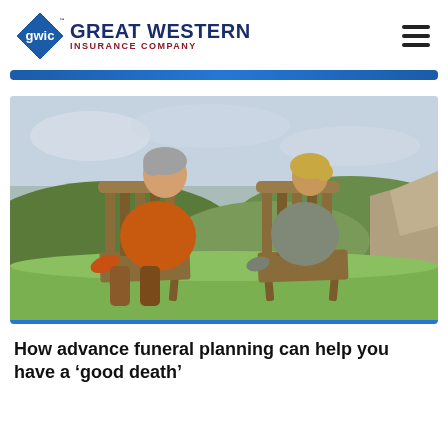GWIC Great Western Insurance Company
[Figure (photo): Two elderly people sitting in wooden deck chairs viewed from behind, looking out over a green hilly landscape with a city in the distance. The person on the left wears an orange shirt, the person on the right wears a grey top.]
How advance funeral planning can help you have a ‘good death’